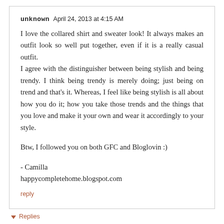unknown  April 24, 2013 at 4:15 AM
I love the collared shirt and sweater look! It always makes an outfit look so well put together, even if it is a really casual outfit.
I agree with the distinguisher between being stylish and being trendy. I think being trendy is merely doing; just being on trend and that's it. Whereas, I feel like being stylish is all about how you do it; how you take those trends and the things that you love and make it your own and wear it accordingly to your style.
Btw, I followed you on both GFC and Bloglovin :)
- Camilla
happycompletehome.blogspot.com
reply
▾ Replies